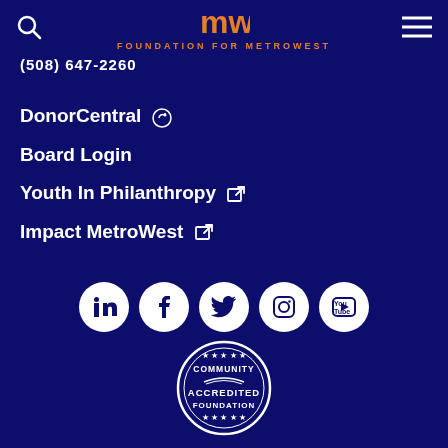Foundation for MetroWest
(508) 647-2260
DonorCentral
Board Login
Youth In Philanthropy
Impact MetroWest
[Figure (illustration): Social media icons: LinkedIn, Facebook, Twitter, Instagram, YouTube — white circles on dark blue background]
[Figure (logo): Community Accredited Foundation seal/badge in white and navy]